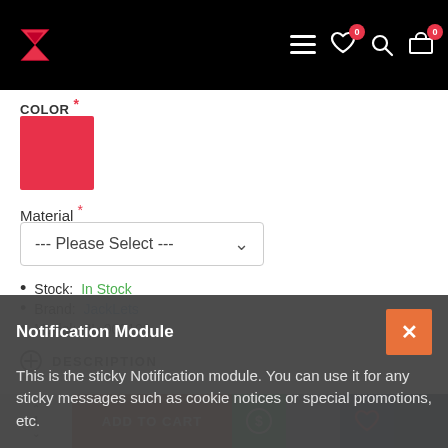[Figure (screenshot): E-commerce website header/navigation bar with red logo icon on the left and nav icons (hamburger menu, heart with badge 0, search, cart with badge 0) on the right, on black background]
COLOR *
[Figure (other): Red/crimson color swatch square]
Material *
--- Please Select ---
Stock: In Stock
Brand: JackLets
Model: JL-000109
DESCRIPTION
Notification Module
This is the sticky Notification module. You can use it for any sticky messages such as cookie notices or special promotions, etc.